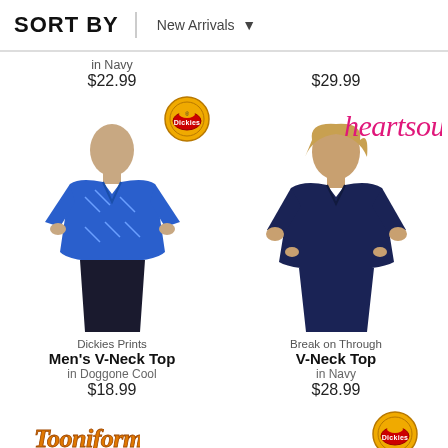SORT BY   New Arrivals
in Navy
$22.99
$29.99
[Figure (photo): Dickies brand logo badge (circular orange/red emblem)]
[Figure (photo): Man wearing blue printed V-neck scrub top]
[Figure (logo): heartsoul brand logo in pink cursive script]
[Figure (photo): Woman wearing navy V-neck scrub top]
Dickies Prints
Men's V-Neck Top
in Doggone Cool
$18.99
Break on Through
V-Neck Top
in Navy
$28.99
[Figure (logo): Tooniforms logo in orange italic serif font]
[Figure (logo): Dickies brand logo badge (circular emblem) in footer]